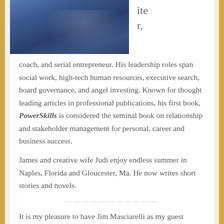[Figure (photo): Portrait photo of a man in a dark blue suit, cropped to show upper body and face, with the lower portion of the image visible at the top of the page.]
ite
r,
coach, and serial entrepreneur. His leadership roles span social work, high-tech human resources, executive search, board governance, and angel investing. Known for thought leading articles in professional publications, his first book, PowerSkills is considered the seminal book on relationship and stakeholder management for personal, career and business success.
James and creative wife Judi enjoy endless summer in Naples, Florida and Gloucester, Ma. He now writes short stories and novels.
——————————
It is my pleasure to have Jim Masciarelli as my guest author today. Jim and I have been friends for quite a few